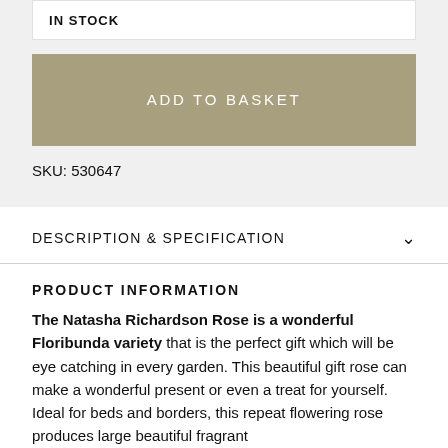IN STOCK
ADD TO BASKET
SKU: 530647
DESCRIPTION & SPECIFICATION
PRODUCT INFORMATION
The Natasha Richardson Rose is a wonderful Floribunda variety that is the perfect gift which will be eye catching in every garden. This beautiful gift rose can make a wonderful present or even a treat for yourself. Ideal for beds and borders, this repeat flowering rose produces large beautiful fragrant